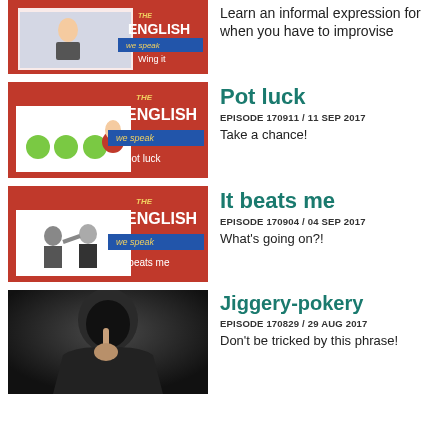[Figure (illustration): Partial thumbnail - The English We Speak: Wing it episode, red background with person near airplane]
Learn an informal expression for when you have to improvise
[Figure (illustration): The English We Speak: Pot luck episode thumbnail, red background with apples and a hand]
Pot luck
EPISODE 170911 / 11 SEP 2017
Take a chance!
[Figure (illustration): The English We Speak: It beats me episode thumbnail, red background with person fighting]
It beats me
EPISODE 170904 / 04 SEP 2017
What's going on?!
[Figure (photo): Dark hooded figure with finger raised, mysterious person in hoodie]
Jiggery-pokery
EPISODE 170829 / 29 AUG 2017
Don't be tricked by this phrase!